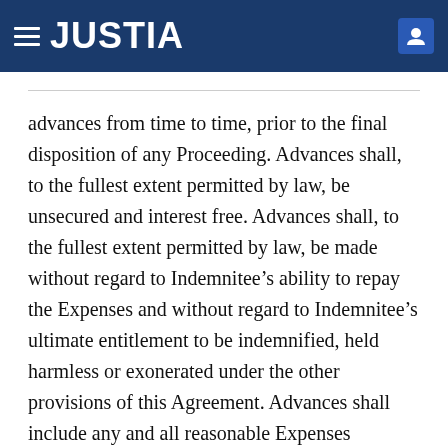JUSTIA
advances from time to time, prior to the final disposition of any Proceeding. Advances shall, to the fullest extent permitted by law, be unsecured and interest free. Advances shall, to the fullest extent permitted by law, be made without regard to Indemnitee’s ability to repay the Expenses and without regard to Indemnitee’s ultimate entitlement to be indemnified, held harmless or exonerated under the other provisions of this Agreement. Advances shall include any and all reasonable Expenses incurred pursuing a Proceeding to enforce this right of advancement, including Expenses incurred preparing and forwarding statements to the Company to support the